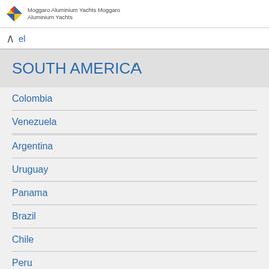Moggaro Aluminium Yachts Moggaro Aluminium Yachts
el
SOUTH AMERICA
Colombia
Venezuela
Argentina
Uruguay
Panama
Brazil
Chile
Peru